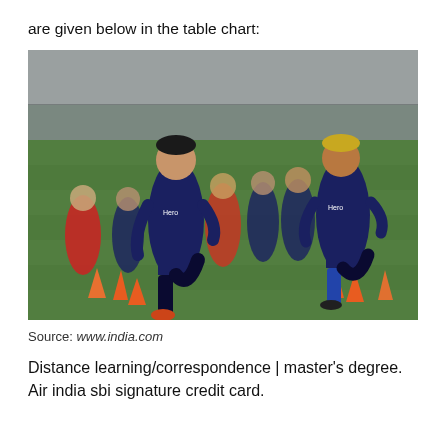are given below in the table chart:
[Figure (photo): Football/soccer players in navy blue jerseys with Hero sponsorship logo running drills on a green pitch with orange training cones, during a training session.]
Source: www.india.com
Distance learning/correspondence | master's degree. Air india sbi signature credit card.